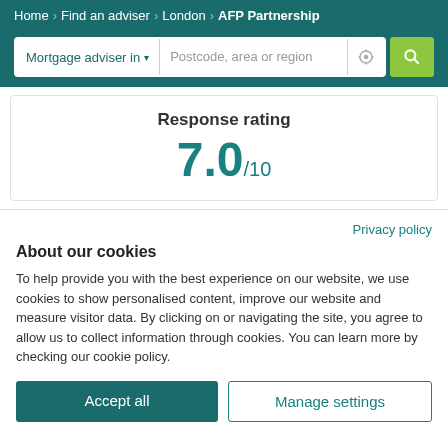Home > Find an adviser > London > AFP Partnership
Mortgage adviser in ▾   Postcode, area or region
Response rating
7.0/10
Privacy policy
About our cookies
To help provide you with the best experience on our website, we use cookies to show personalised content, improve our website and measure visitor data. By clicking on or navigating the site, you agree to allow us to collect information through cookies. You can learn more by checking our cookie policy.
Accept all
Manage settings